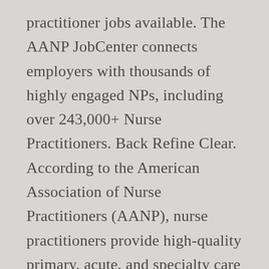practitioner jobs available. The AANP JobCenter connects employers with thousands of highly engaged NPs, including over 243,000+ Nurse Practitioners. Back Refine Clear. According to the American Association of Nurse Practitioners (AANP), nurse practitioners provide high-quality primary, acute, and specialty care health services across the lifespan and in diverse settings. New nurse practitioner careers in Queensland are added daily on SimplyHired.com. Where. Indeed may be compensated by these employers, helping keep Indeed free for job seekers. Contact Officer: Lynelle Boisseau on lynelle.boisseau@act.gov.au or 0435 446.... Nurse Practitioner jobs Where Back Refine